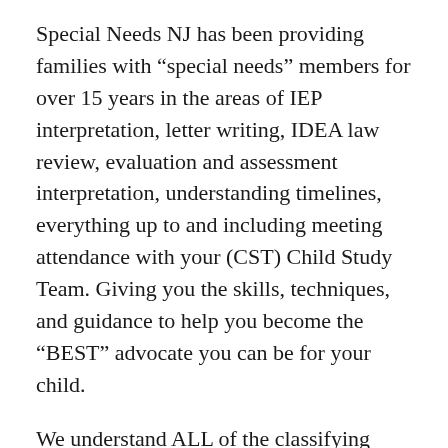Special Needs NJ has been providing families with “special needs” members for over 15 years in the areas of IEP interpretation, letter writing, IDEA law review, evaluation and assessment interpretation, understanding timelines, everything up to and including meeting attendance with your (CST) Child Study Team. Giving you the skills, techniques, and guidance to help you become the “BEST” advocate you can be for your child.
We understand ALL of the classifying categories; ALL of the related services, and most importantly How you can get the best possible program for your child to progress and become successful in their educational experience.
DON’T WAIT ANOTHER MINUTE….
CALL (973) 534-3402 and we will give you a free